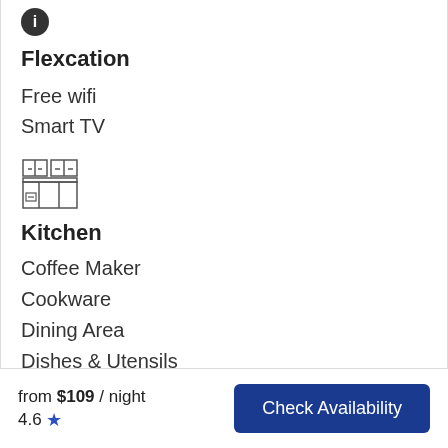[Figure (other): Info icon - dark circle with white letter i]
Flexcation
Free wifi
Smart TV
[Figure (other): Kitchen icon - line drawing of kitchen counter/appliances]
Kitchen
Coffee Maker
Cookware
Dining Area
Dishes & Utensils
Dishwasher
Kitchen
Microwave
Refrigerator (partial)
from $109 / night  4.6 ★  Check Availability